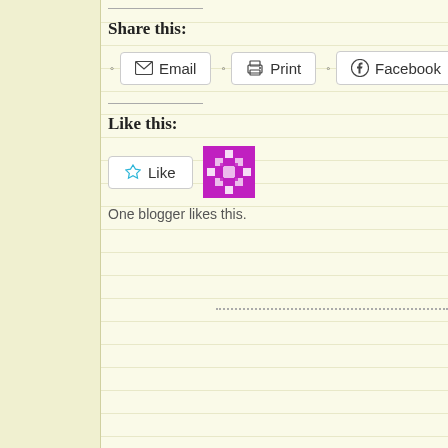Share this:
Email
Print
Facebook
Twit...
Like this:
[Figure (illustration): Like button with star icon and a blogger avatar (purple mosaic/snowflake pattern square icon)]
One blogger likes this.